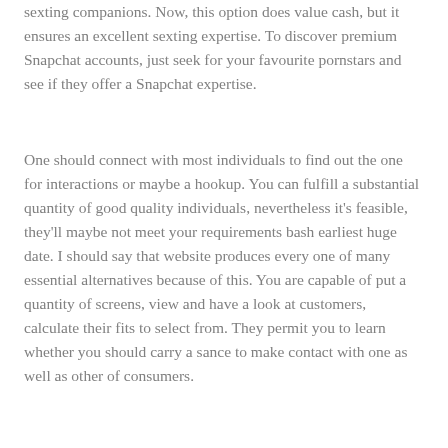sexting companions. Now, this option does value cash, but it ensures an excellent sexting expertise. To discover premium Snapchat accounts, just seek for your favourite pornstars and see if they offer a Snapchat expertise.
One should connect with most individuals to find out the one for interactions or maybe a hookup. You can fulfill a substantial quantity of good quality individuals, nevertheless it's feasible, they'll maybe not meet your requirements bash earliest huge date. I should say that website produces every one of many essential alternatives because of this. You are capable of put a quantity of screens, view and have a look at customers, calculate their fits to select from. They permit you to learn whether you should carry a sance to make contact with one as well as other of consumers.